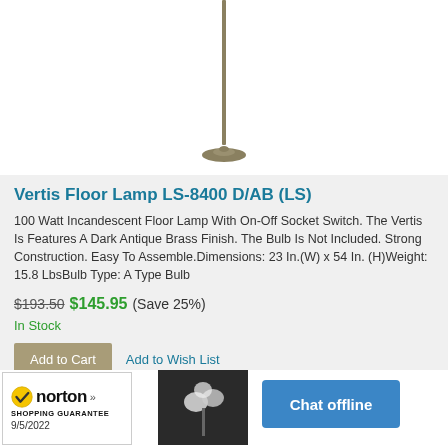[Figure (photo): Partial view of a floor lamp with a thin pole and circular base on a white background]
Vertis Floor Lamp LS-8400 D/AB (LS)
100 Watt Incandescent Floor Lamp With On-Off Socket Switch. The Vertis Is Features A Dark Antique Brass Finish. The Bulb Is Not Included. Strong Construction. Easy To Assemble.Dimensions: 23 In.(W) x 54 In.(H)Weight: 15.8 LbsBulb Type: A Type Bulb
$193.50 $145.95 (Save 25%)
In Stock
Add to Cart  Add to Wish List
[Figure (logo): Norton Shopping Guarantee badge with checkmark, dated 9/5/2022]
[Figure (photo): Small thumbnail image of a lamp with flower-shaped shade against dark background]
Chat offline